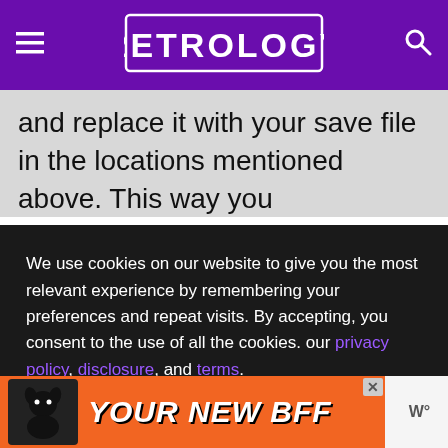RETROLOGY (logo)
and replace it with your save file in the locations mentioned above. This way you
We use cookies on our website to give you the most relevant experience by remembering your preferences and repeat visits. By accepting, you consent to the use of all the cookies. our privacy policy, disclosure, and terms.
cover reviews, news, Best-of, and a lot of other stuff so bookmark us and keep following Retrology.
[Figure (screenshot): YOUR NEW BFF advertisement banner with dog image at bottom of page]